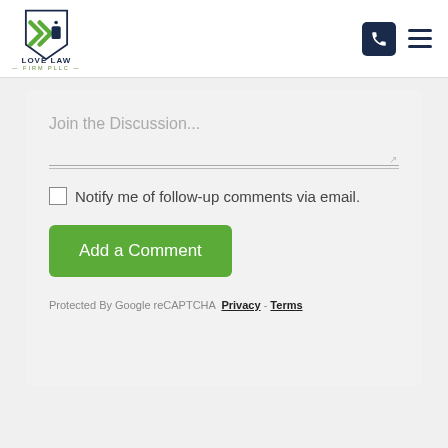[Figure (logo): Love Law Firm PLLC logo with green and navy shield/chevron icon and company name]
Join the Discussion...
Notify me of follow-up comments via email.
Add a Comment
Protected By Google reCAPTCHA Privacy - Terms